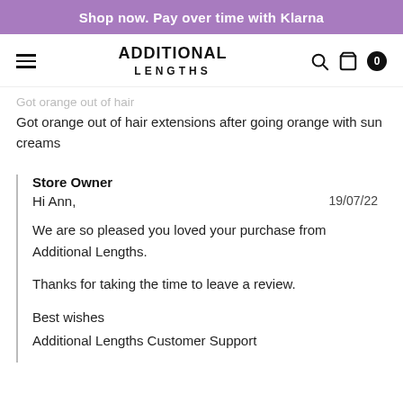Shop now. Pay over time with Klarna
[Figure (screenshot): Navigation bar with hamburger menu, Additional Lengths logo, search icon, bag icon, and cart badge showing 0]
Got orange out of hair
Got orange out of hair extensions after going orange with sun creams
Store Owner
Hi Ann,

19/07/22

We are so pleased you loved your purchase from Additional Lengths.

Thanks for taking the time to leave a review.

Best wishes
Additional Lengths Customer Support